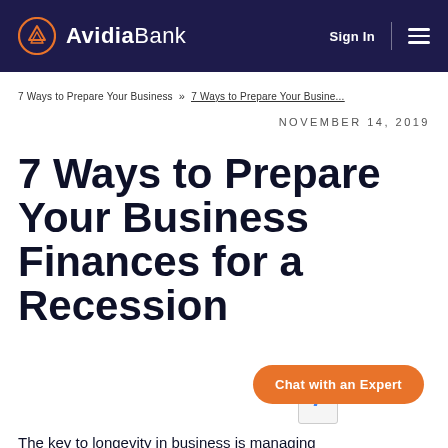[Figure (logo): Avidia Bank logo with circular chevron icon and wordmark on dark navy header bar with Sign In link and hamburger menu]
7 Ways to Prepare Your Business  »  7 Ways to Prepare Your Busine...
NOVEMBER 14, 2019
7 Ways to Prepare Your Business Finances for a Recession
The key to longevity in business is managing...
[Figure (other): Orange Chat with an Expert floating button and reCAPTCHA badge in bottom-right corner]